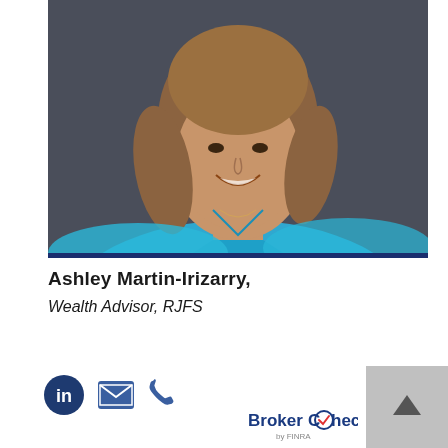[Figure (photo): Professional headshot of Ashley Martin-Irizarry, a woman with curly light brown hair wearing a bright blue pleated top, photographed against a dark gray background.]
Ashley Martin-Irizarry,
Wealth Advisor, RJFS
[Figure (infographic): Social media and contact icons: LinkedIn circular logo, email envelope icon, phone handset icon]
[Figure (logo): BrokerCheck by FINRA logo in blue and red, with a back-to-top arrow button]
[Figure (other): Back to top button (upward caret arrow on light gray square background)]